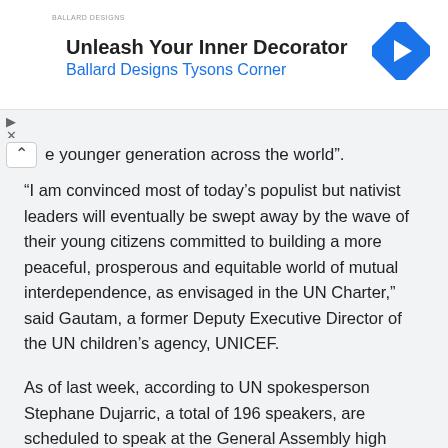[Figure (other): Advertisement banner: 'Unleash Your Inner Decorator / Ballard Designs Tysons Corner' with a blue diamond navigation icon on the right and small logo text on the left.]
e younger generation across the world”.
“I am convinced most of today’s populist but nativist leaders will eventually be swept away by the wave of their young citizens committed to building a more peaceful, prosperous and equitable world of mutual interdependence, as envisaged in the UN Charter,” said Gautam, a former Deputy Executive Director of the UN children’s agency, UNICEF.
As of last week, according to UN spokesperson Stephane Dujarric, a total of 196 speakers, are scheduled to speak at the General Assembly high level segment, including 97 Heads of State; five Vice-Presidents; 46 Heads of